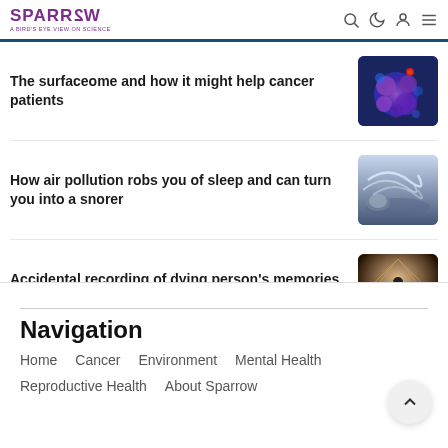SPARROW – A BIRD'S EYE VIEW ON SCIENCE
The surfaceome and how it might help cancer patients
[Figure (photo): Microscopy image of cancer cells in purple and blue tones with a red marker]
How air pollution robs you of sleep and can turn you into a snorer
[Figure (photo): Person sleeping with swirling white lines/waves around them suggesting air or pollution]
Accidental recording of dying person's memories – what do they reveal?
[Figure (photo): Silhouette of a person standing in a field with dramatic light behind them]
Navigation
Home
Cancer
Environment
Mental Health
Reproductive Health
About Sparrow